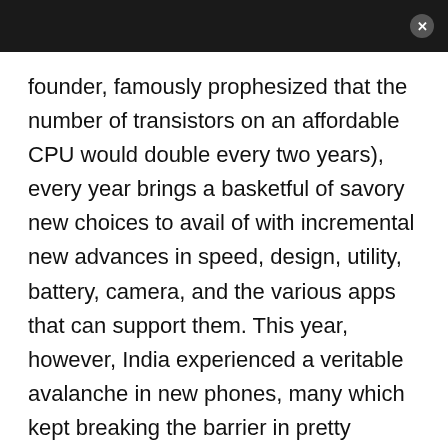founder, famously prophesized that the number of transistors on an affordable CPU would double every two years), every year brings a basketful of savory new choices to avail of with incremental new advances in speed, design, utility, battery, camera, and the various apps that can support them. This year, however, India experienced a veritable avalanche in new phones, many which kept breaking the barrier in pretty profound ways in terms of advances. This summer alone saw several new budget smartphones winning the crown for being the best on the block, only to lose it overnight to someone else.